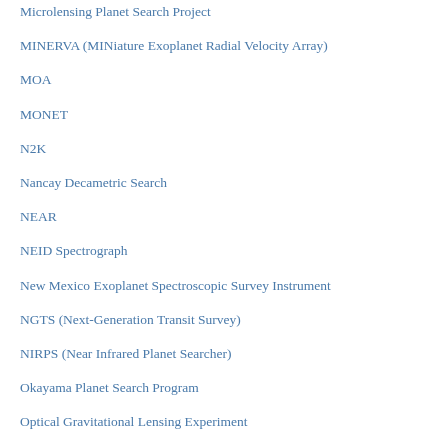Microlensing Planet Search Project
MINERVA (MINiature Exoplanet Radial Velocity Array)
MOA
MONET
N2K
Nancay Decametric Search
NEAR
NEID Spectrograph
New Mexico Exoplanet Spectroscopic Survey Instrument
NGTS (Next-Generation Transit Survey)
NIRPS (Near Infrared Planet Searcher)
Okayama Planet Search Program
Optical Gravitational Lensing Experiment
OWL
PARAS (PRL Advanced Radial-velocity Allsky Search)